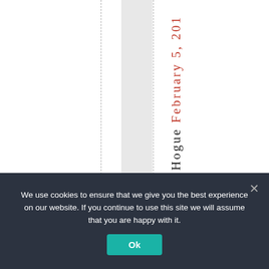Hogue February 5, 201
We use cookies to ensure that we give you the best experience on our website. If you continue to use this site we will assume that you are happy with it.
Ok